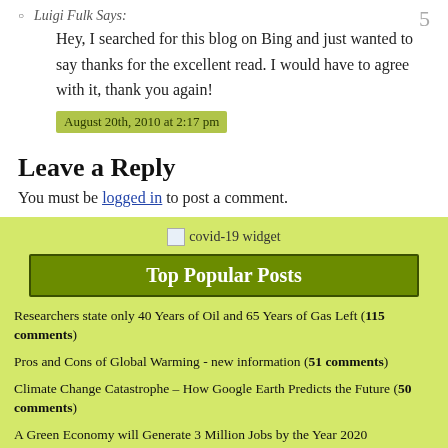Luigi Fulk Says:
Hey, I searched for this blog on Bing and just wanted to say thanks for the excellent read. I would have to agree with it, thank you again!
August 20th, 2010 at 2:17 pm
Leave a Reply
You must be logged in to post a comment.
[Figure (other): covid-19 widget image placeholder]
Top Popular Posts
Researchers state only 40 Years of Oil and 65 Years of Gas Left (115 comments)
Pros and Cons of Global Warming - new information (51 comments)
Climate Change Catastrophe – How Google Earth Predicts the Future (50 comments)
A Green Economy will Generate 3 Million Jobs by the Year 2020